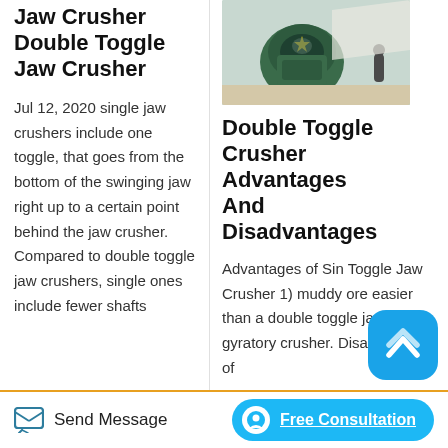Jaw Crusher Double Toggle Jaw Crusher
Jul 12, 2020 single jaw crushers include one toggle, that goes from the bottom of the swinging jaw right up to a certain point behind the jaw crusher. Compared to double toggle jaw crushers, single ones include fewer shafts
[Figure (photo): Industrial jaw crusher machine, green in color, with a worker visible in the background]
Double Toggle Crusher Advantages And Disadvantages
Advantages of Sin Toggle Jaw Crusher 1) muddy ore easier than a double toggle jaw or gyratory crusher. Disadvantages of
Send Message   Free Consultation